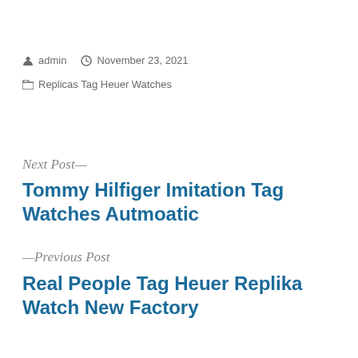admin   November 23, 2021
Replicas Tag Heuer Watches
Next Post—
Tommy Hilfiger Imitation Tag Watches Autmoatic
—Previous Post
Real People Tag Heuer Replika Watch New Factory